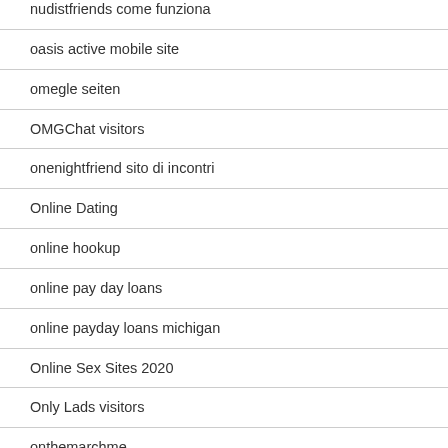nudistfriends come funziona
oasis active mobile site
omegle seiten
OMGChat visitors
onenightfriend sito di incontri
Online Dating
online hookup
online pay day loans
online payday loans michigan
Online Sex Sites 2020
Only Lads visitors
onthemarchme